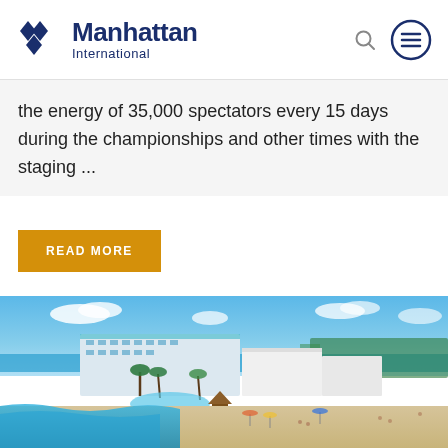Manhattan International
the energy of 35,000 spectators every 15 days during the championships and other times with the staging ...
READ MORE
[Figure (photo): Aerial view of a beach resort with white buildings, pools, tropical palms, sandy beach and turquoise ocean water under blue sky with clouds]